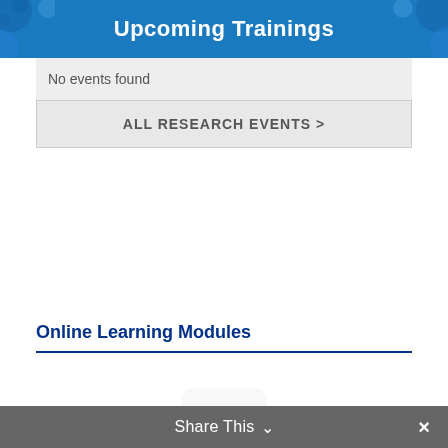Upcoming Trainings
No events found
ALL RESEARCH EVENTS >
Online Learning Modules
[Figure (other): Loading spinner icon showing a circular dashed/spoked wheel indicating content is loading]
Share This ∨  ×